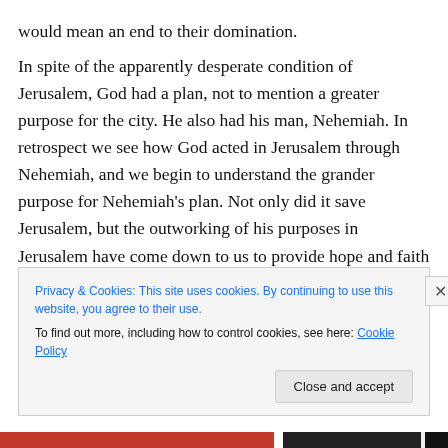would mean an end to their domination.
In spite of the apparently desperate condition of Jerusalem, God had a plan, not to mention a greater purpose for the city. He also had his man, Nehemiah. In retrospect we see how God acted in Jerusalem through Nehemiah, and we begin to understand the grander purpose for Nehemiah’s plan. Not only did it save Jerusalem, but the outworking of his purposes in Jerusalem have come down to us to provide hope and faith that God will similarly act in Chicago (as well as other cities) to abolish the evils underlying our urban nightmare
Privacy & Cookies: This site uses cookies. By continuing to use this website, you agree to their use.
To find out more, including how to control cookies, see here: Cookie Policy